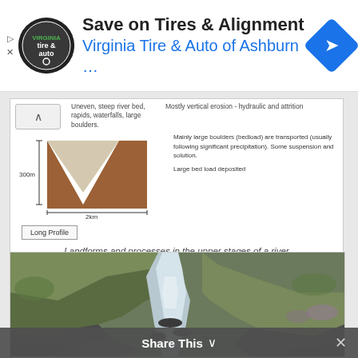[Figure (screenshot): Advertisement banner for Virginia Tire & Auto of Ashburn showing logo, text 'Save on Tires & Alignment' and 'Virginia Tire & Auto of Ashburn ...' with navigation icon]
Uneven, steep river bed, rapids, waterfalls, large boulders.
Mostly vertical erosion - hydraulic and attrition
Mainly large boulders (bedload) are transported (usually following significant precipitation). Some suspension and solution.
Large bed load deposited
[Figure (engineering-diagram): Cross-sectional diagram of a V-shaped river valley showing width of 2km and height of 300m, with brown fill indicating valley walls]
Long Profile
Landforms and processes in the upper stages of a river
[Figure (photo): Photograph of a rocky upland river with waterfalls cascading over dark rocks, surrounded by green and brown moorland vegetation]